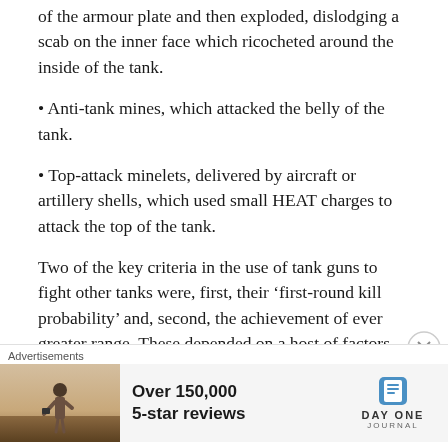of the armour plate and then exploded, dislodging a scab on the inner face which ricocheted around the inside of the tank.
• Anti-tank mines, which attacked the belly of the tank.
• Top-attack minelets, delivered by aircraft or artillery shells, which used small HEAT charges to attack the top of the tank.
Two of the key criteria in the use of tank guns to fight other tanks were, first, their ‘first-round kill probability’ and, second, the achievement of ever greater range. These depended on a host of factors, each of which was repeatedly addressed during the course of the Cold War. The most
Advertisements
[Figure (infographic): Advertisement banner: person photographed from behind in outdoor setting, with text 'Over 150,000 5-star reviews' and Day One Journal logo]